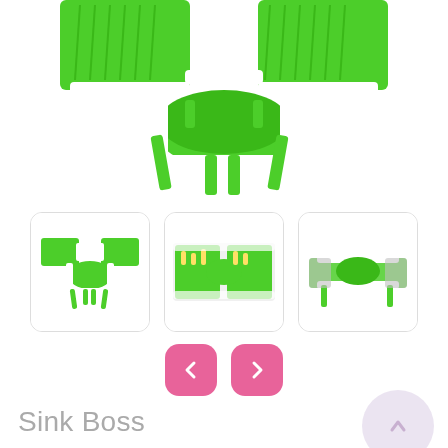[Figure (photo): Large product photo of a green and white Sink Boss dish drying rack with collapsible colander, viewed from above/front, partially cropped at top]
[Figure (photo): Thumbnail 1: green and white Sink Boss dish rack folded open, viewed from front]
[Figure (photo): Thumbnail 2: Sink Boss dish rack fully expanded with items on it, viewed from above]
[Figure (photo): Thumbnail 3: Sink Boss dish rack folded/closed, side view]
Sink Boss